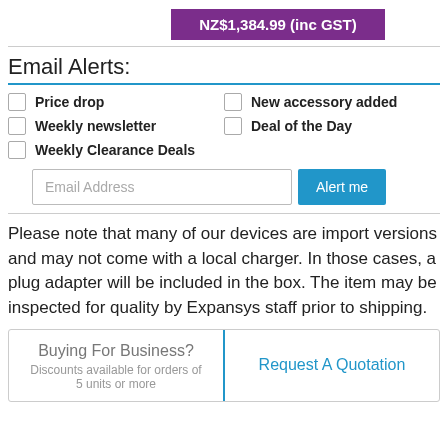NZ$1,384.99 (inc GST)
Email Alerts:
Price drop
New accessory added
Weekly newsletter
Deal of the Day
Weekly Clearance Deals
Email Address  Alert me
Please note that many of our devices are import versions and may not come with a local charger. In those cases, a plug adapter will be included in the box. The item may be inspected for quality by Expansys staff prior to shipping.
Buying For Business?
Discounts available for orders of 5 units or more
Request A Quotation